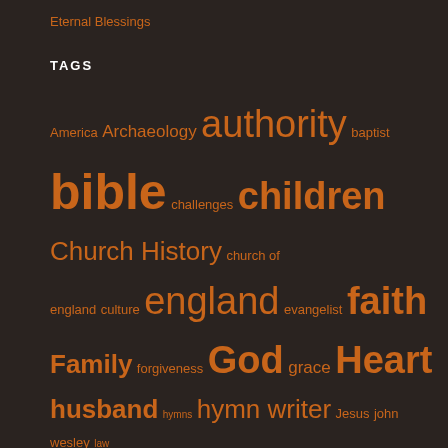Eternal Blessings
TAGS
America Archaeology authority baptist bible challenges children Church History church of england culture england evangelist faith Family forgiveness God grace Heart husband hymns hymn writer Jesus john wesley law logophile Marriage methodist missionaries missionary parenting parents Poetry preacher presbyterian proverbs reality rejection relationship relationships responsibility scotland slavery wife wisdom